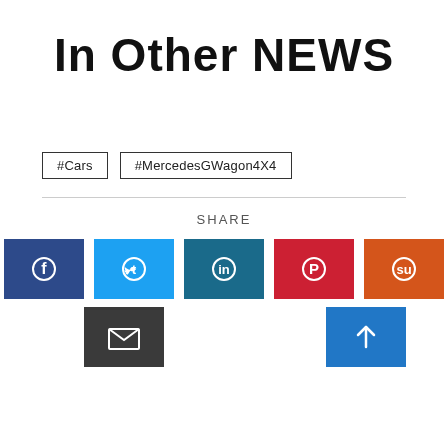In Other NEWS
#Cars
#MercedesGWagon4X4
SHARE